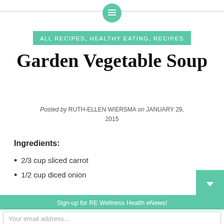[Figure (other): Green circular icon with menu/list lines symbol, centered at top with horizontal line]
ALL RECIPES, HEALTHY EATING, RECIPES
Garden Vegetable Soup
Posted by RUTH-ELLEN WIERSMA on JANUARY 29, 2015
Ingredients:
2/3 cup sliced carrot
1/2 cup diced onion
Sign-up for RE Wellness Health eNews!
Your email address...
GO